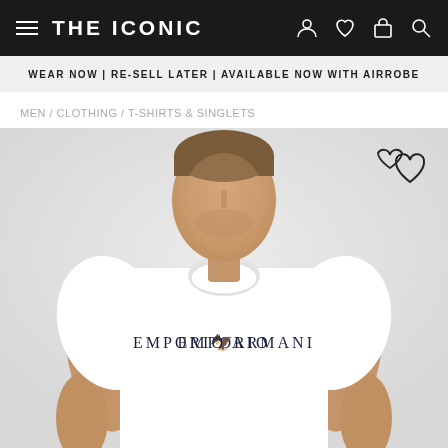THE ICONIC
WEAR NOW | RE-SELL LATER | AVAILABLE NOW WITH AIRROBE
MEN / CLOTHING / T-SHIRTS & SINGLETS
[Figure (photo): Male model wearing a white Emporio Armani logo t-shirt against a light grey background. The model is photographed from mid-torso upward showing the fitted white crew-neck t-shirt with EMPORIO ARMANI text and eagle logo printed in dark navy across the chest.]